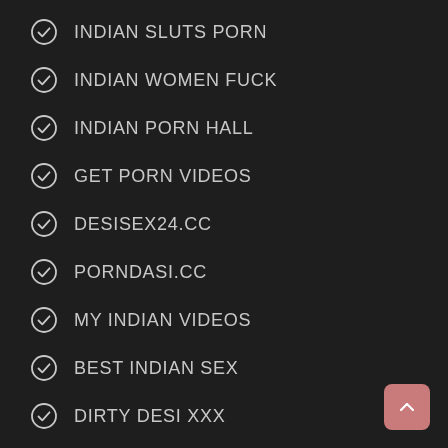INDIAN SLUTS PORN
INDIAN WOMEN FUCK
INDIAN PORN HALL
GET PORN VIDEOS
DESISEX24.CC
PORNDASI.CC
MY INDIAN VIDEOS
BEST INDIAN SEX
DIRTY DESI XXX